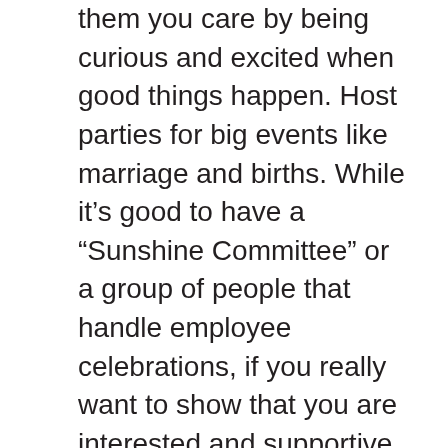them you care by being curious and excited when good things happen. Host parties for big events like marriage and births. While it’s good to have a “Sunshine Committee” or a group of people that handle employee celebrations, if you really want to show that you are interested and supportive, you must be involved in the planning or funding.
Some personal development programs offer to notify a participant’s employer when they’ve reached a certain proficiency or award level. Let your employees know that you approve of, and appreciate any work they do outside of the office and would love to be told when they’ve made any accomplishments.
Celebrating achievements is a great way to show employees that they are appreciated and needed.  Remember that work wins are not the old thing to celebrate. Celebrate the good, the bad, and the